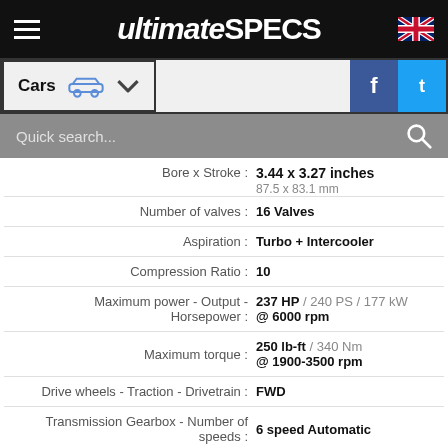ultimateSPECS
Cars
Quick search...
| Specification | Value |
| --- | --- |
| Bore x Stroke : | 3.44 x 3.27 inches / 87.5 x 83.1 mm |
| Number of valves : | 16 Valves |
| Aspiration : | Turbo + Intercooler |
| Compression Ratio : | 10 |
| Maximum power - Output - Horsepower : | 237 HP / 240 PS / 177 kW @ 6000 rpm |
| Maximum torque : | 250 lb-ft / 340 Nm @ 1900-3500 rpm |
| Drive wheels - Traction - Drivetrain : | FWD |
| Transmission Gearbox - Number of speeds : | 6 speed Automatic |
Ford Mondeo 4 2.0 EcoBoost 240HP PowerShift Titanium S Fuel Consumption (Economy), Emissions and Range
Fuel Consumption - Economy - 31 MPG